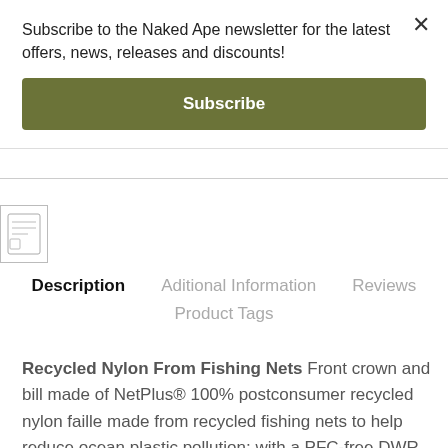Subscribe to the Naked Ape newsletter for the latest offers, news, releases and discounts!
Subscribe
[Figure (other): Product thumbnail image placeholder]
Description   Aditional Information   Reviews   Product Tags
Recycled Nylon From Fishing Nets Front crown and bill made of NetPlus® 100% postconsumer recycled nylon faille made from recycled fishing nets to help reduce ocean plastic pollution; with a PFC-free DWR finish (durable water